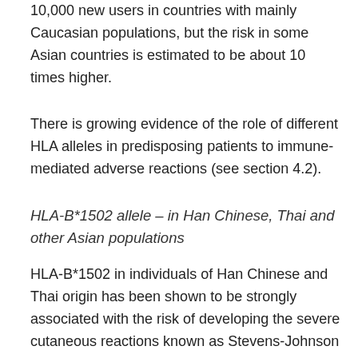10,000 new users in countries with mainly Caucasian populations, but the risk in some Asian countries is estimated to be about 10 times higher.
There is growing evidence of the role of different HLA alleles in predisposing patients to immune-mediated adverse reactions (see section 4.2).
HLA-B*1502 allele – in Han Chinese, Thai and other Asian populations
HLA-B*1502 in individuals of Han Chinese and Thai origin has been shown to be strongly associated with the risk of developing the severe cutaneous reactions known as Stevens-Johnson syndrome (SJS) when treated with carbamazepine. The prevalence of HLA-B*1502 carrier is about 10% of Han Chinese and Thai populations. When one considers the